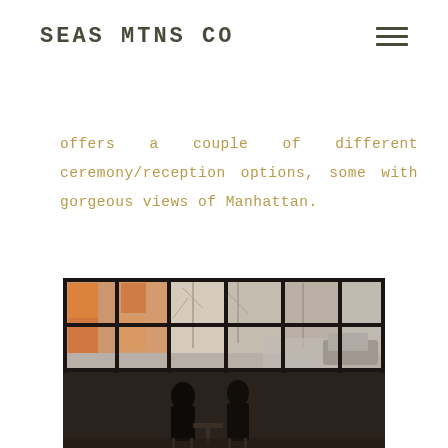SEAS MTNS CO
offers a couple of different ceremony/reception options, some with gorgeous views of Manhattan.
[Figure (photo): Two people sitting at a cafe or restaurant with large industrial steel-frame windows behind them, colorful murals and bare trees visible outside]